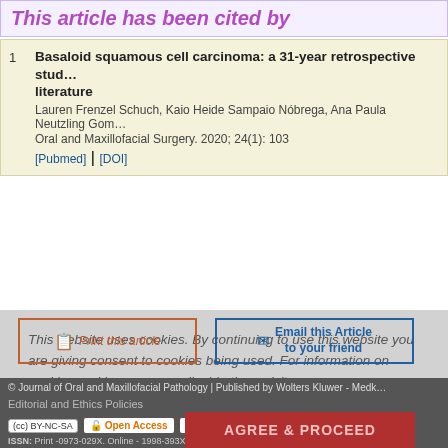This article has been cited by
1. Basaloid squamous cell carcinoma: a 31-year retrospective study and literature
Lauren Frenzel Schuch, Kaio Heide Sampaio Nóbrega, Ana Paula Neutzling Gom...
Oral and Maxillofacial Surgery. 2020; 24(1): 103
[Pubmed] | [DOI]
This website uses cookies. By continuing to use this website you are giving consent to cookies being used. For information on cookies and how you can disable them visit our
© Journal of Oral and Maxillofacial Pathology | Published by Wolters Kluwer - Medk
Editorial and Ethics Policies
ISSN: Print -0973-029X. Online - 1998-393X